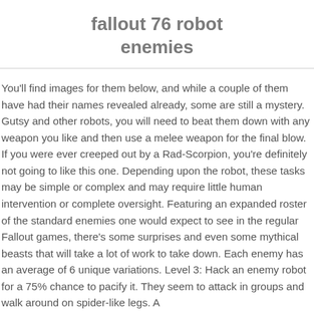fallout 76 robot enemies
You'll find images for them below, and while a couple of them have had their names revealed already, some are still a mystery. Gutsy and other robots, you will need to beat them down with any weapon you like and then use a melee weapon for the final blow. If you were ever creeped out by a Rad-Scorpion, you're definitely not going to like this one. Depending upon the robot, these tasks may be simple or complex and may require little human intervention or complete oversight. Featuring an expanded roster of the standard enemies one would expect to see in the regular Fallout games, there's some surprises and even some mythical beasts that will take a lot of work to take down. Each enemy has an average of 6 unique variations. Level 3: Hack an enemy robot for a 75% chance to pacify it. They seem to attack in groups and walk around on spider-like legs. A